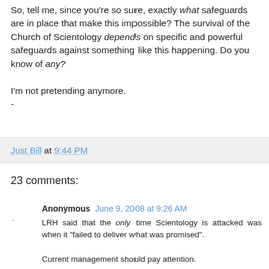So, tell me, since you're so sure, exactly what safeguards are in place that make this impossible? The survival of the Church of Scientology depends on specific and powerful safeguards against something like this happening. Do you know of any?

I'm not pretending anymore.
-
Just Bill at 9:44 PM
23 comments:
Anonymous  June 9, 2008 at 9:26 AM
LRH said that the only time Scientology is attacked was when it "failed to deliver what was promised".

Current management should pay attention.
Reply